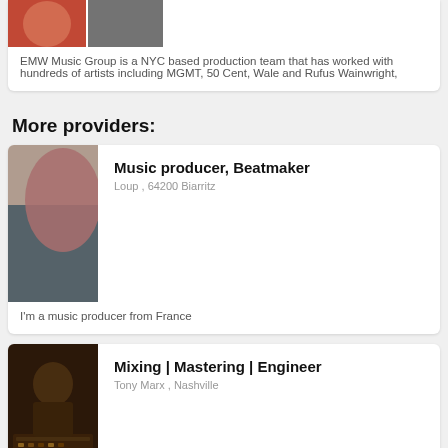[Figure (photo): Partial top card with two profile/group photos side by side]
EMW Music Group is a NYC based production team that has worked with hundreds of artists including MGMT, 50 Cent, Wale and Rufus Wainwright,
More providers:
[Figure (photo): Profile photo for music producer Loup, showing abstract dark and pink shapes]
Music producer, Beatmaker
Loup  , 64200 Biarritz
I'm a music producer from France
[Figure (photo): Photo for Tony Marx showing a person at a mixing console in a dark studio]
Mixing | Mastering | Engineer
Tony Marx  , Nashville
I am a mix engineer with over a decade of experience in post production